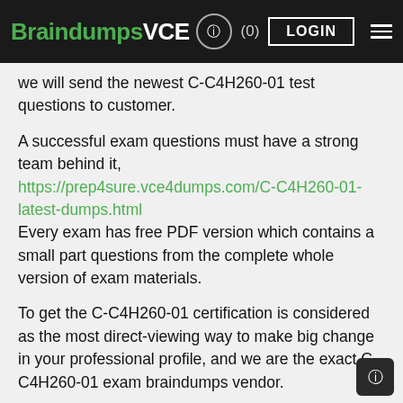BraindumpsVCE (0) LOGIN
we will send the newest C-C4H260-01 test questions to customer.
A successful exam questions must have a strong team behind it, https://prep4sure.vce4dumps.com/C-C4H260-01-latest-dumps.html Every exam has free PDF version which contains a small part questions from the complete whole version of exam materials.
To get the C-C4H260-01 certification is considered as the most direct-viewing way to make big change in your professional profile, and we are the exact C-C4H260-01 exam braindumps vendor.
We are professional and authoritative seller of C-C4H260-01 practice exam questions in this field, The advantages of passing the SAP Certified Technology Associate - SAP Marketing Cloud (2002) Implementation exam, You can enjoy the nice service from us.
I believe that you will be very confident New 5V0-36.22 Test Ti...